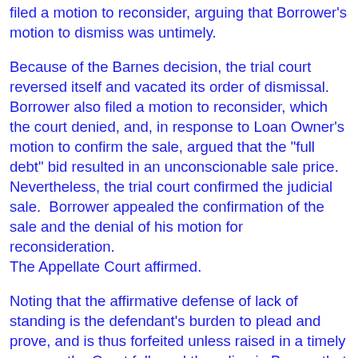filed a motion to reconsider, arguing that Borrower's motion to dismiss was untimely.
Because of the Barnes decision, the trial court reversed itself and vacated its order of dismissal.  Borrower also filed a motion to reconsider, which the court denied, and, in response to Loan Owner's motion to confirm the sale, argued that the "full debt" bid resulted in an unconscionable sale price.  Nevertheless, the trial court confirmed the judicial sale.  Borrower appealed the confirmation of the sale and the denial of his motion for reconsideration. The Appellate Court affirmed.
Noting that the affirmative defense of lack of standing is the defendant's burden to plead and prove, and is thus forfeited unless raised in a timely manner, the Court followed the ruling in Barnes that failure to argue a lack of standing before a foreclosure judgment results in forfeiture of that defense.
Borrower unsuccessfully argued that the court was not required to follow Barnes because the Loan Owner had